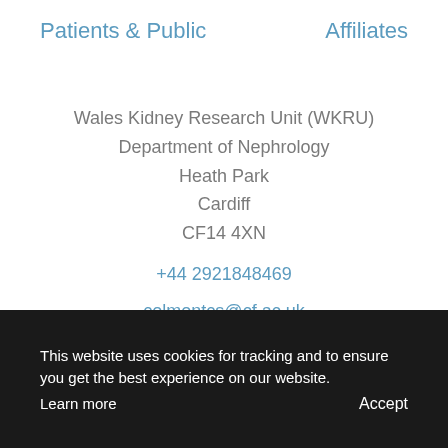Patients & Public    Affiliates
Wales Kidney Research Unit (WKRU)
Department of Nephrology
Heath Park
Cardiff
CF14 4XN
+44 2921848469
colmontcs@cf.ac.uk
Donate
This website uses cookies for tracking and to ensure you get the best experience on our website.
Learn more    Accept